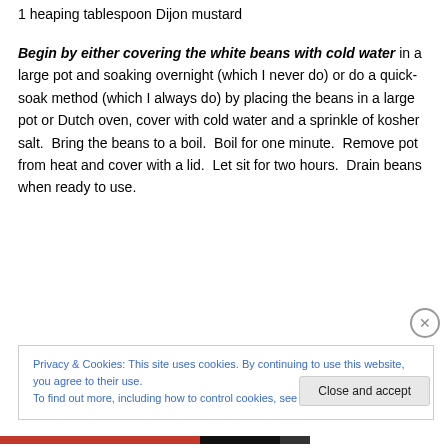1 heaping tablespoon Dijon mustard
Begin by either covering the white beans with cold water in a large pot and soaking overnight (which I never do) or do a quick-soak method (which I always do) by placing the beans in a large pot or Dutch oven, cover with cold water and a sprinkle of kosher salt.  Bring the beans to a boil.  Boil for one minute.  Remove pot from heat and cover with a lid.  Let sit for two hours.  Drain beans when ready to use.
Privacy & Cookies: This site uses cookies. By continuing to use this website, you agree to their use.
To find out more, including how to control cookies, see here: Cookie Policy